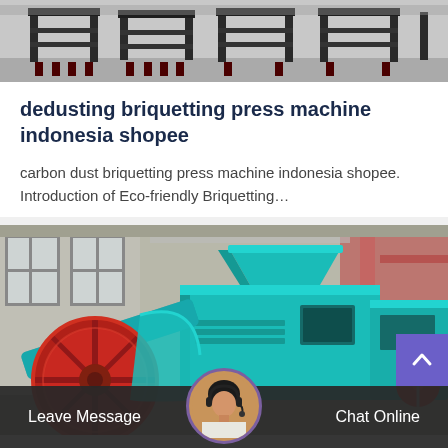[Figure (photo): Industrial steel frame machinery in a warehouse/factory setting, dark metal frames on concrete floor]
dedusting briquetting press machine indonesia shopee
carbon dust briquetting press machine indonesia shopee. Introduction of Eco-friendly Briquetting…
[Figure (photo): Teal/cyan colored briquetting press machine with large red fan wheel on the left side, in an industrial factory setting]
Leave Message   Chat Online